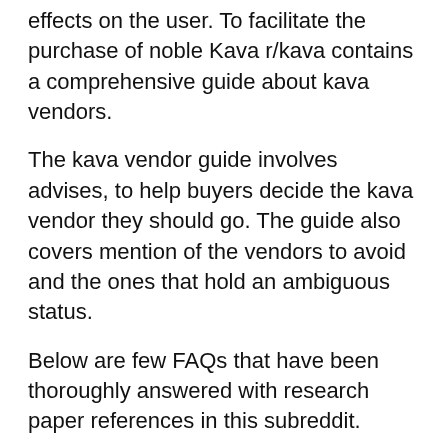effects on the user. To facilitate the purchase of noble Kava r/kava contains a comprehensive guide about kava vendors.
The kava vendor guide involves advises, to help buyers decide the kava vendor they should go. The guide also covers mention of the vendors to avoid and the ones that hold an ambiguous status.
Below are few FAQs that have been thoroughly answered with research paper references in this subreddit.
What is Kava, and what are its effects?
What is noble Kava?